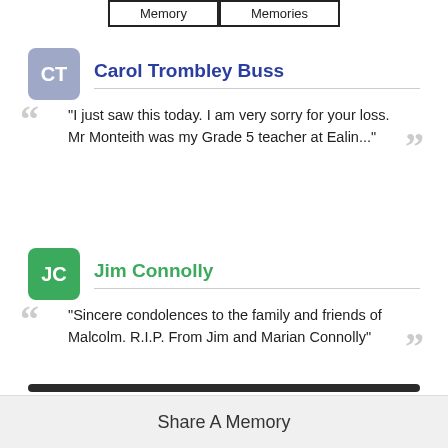Memory | Memories
Carol Trombley Buss — "I just saw this today. I am very sorry for your loss. Mr Monteith was my Grade 5 teacher at Ealin..."
Jim Connolly — "Sincere condolences to the family and friends of Malcolm. R.I.P. From Jim and Marian Connolly"
Share A Memory